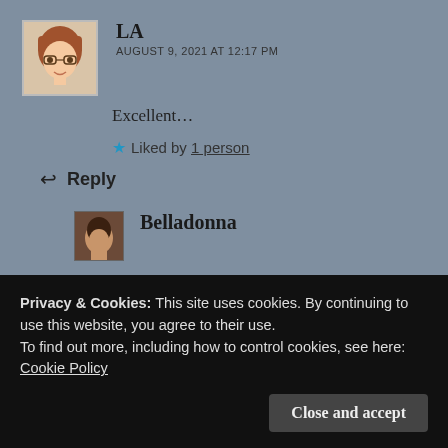LA
AUGUST 9, 2021 AT 12:17 PM
Excellent...
★ Liked by 1 person
↩ Reply
[Figure (illustration): Avatar of commenter Belladonna — small photo thumbnail]
Belladonna
Privacy & Cookies: This site uses cookies. By continuing to use this website, you agree to their use.
To find out more, including how to control cookies, see here:
Cookie Policy
Close and accept
↩ Reply